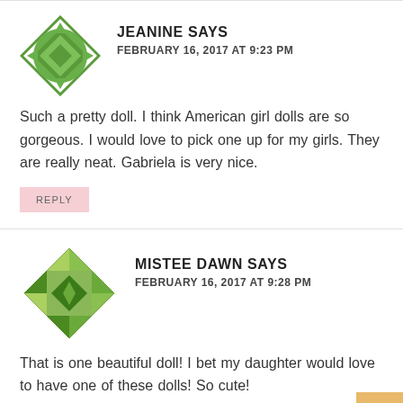[Figure (illustration): Green geometric avatar icon for commenter Jeanine]
JEANINE SAYS
FEBRUARY 16, 2017 AT 9:23 PM
Such a pretty doll. I think American girl dolls are so gorgeous. I would love to pick one up for my girls. They are really neat. Gabriela is very nice.
REPLY
[Figure (illustration): Green geometric patchwork avatar icon for commenter Mistee Dawn]
MISTEE DAWN SAYS
FEBRUARY 16, 2017 AT 9:28 PM
That is one beautiful doll! I bet my daughter would love to have one of these dolls! So cute!
REPLY